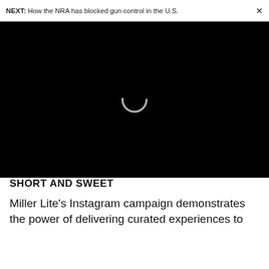NEXT: How the NRA has blocked gun control in the U.S.  ×
[Figure (screenshot): Black video player area with a gray circular loading spinner in the center, indicating a video is loading.]
SHORT AND SWEET
Miller Lite's Instagram campaign demonstrates the power of delivering curated experiences to